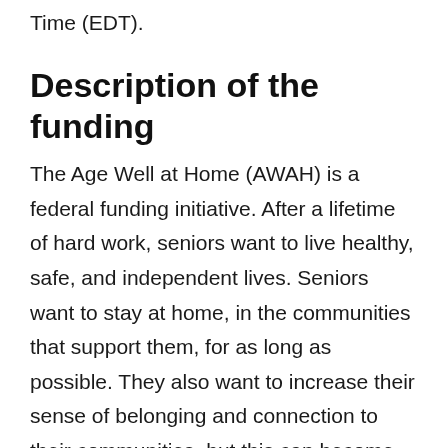Time (EDT).
Description of the funding
The Age Well at Home (AWAH) is a federal funding initiative. After a lifetime of hard work, seniors want to live healthy, safe, and independent lives. Seniors want to stay at home, in the communities that support them, for as long as possible. They also want to increase their sense of belonging and connection to their communities, but this can become difficult as they age. This leads many vulnerable seniors to move to supportive care (such as a senior's home)